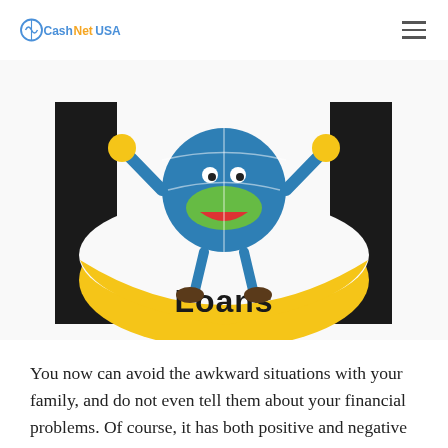CashNetUSA
[Figure (illustration): CashNetUSA mascot illustration: a blue globe character with arms raised, standing on a large yellow crescent banner with the word 'Loans' written in dark text. Two black rectangular bars flank the image on the left and right sides.]
You now can avoid the awkward situations with your family, and do not even tell them about your financial problems. Of course, it has both positive and negative reviews but this way of getting money is still very convenient and a good idea to solve some budget issues. Sometimes a constant want of money may be stressful compared to one-